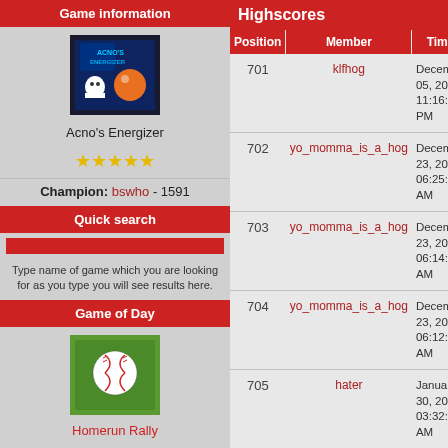Game information
[Figure (screenshot): Acno's Energizer game thumbnail - dark space themed game with characters]
Acno's Energizer
★★★★★
Champion: bswho - 1591
Quick search
Type name of game which you are looking for as you type you will see results here.
Game of Day
[Figure (illustration): Homerun Rally game thumbnail - baseball on green field background]
Homerun Rally
Champion: Cousin Eddie - 44
Highscores
| Position | Member | Time |
| --- | --- | --- |
| 701 | klfhog | December 05, 2012, 11:16:31 PM |
| 702 | yo_momma_is_a_hog | December 23, 2008, 06:25:24 AM |
| 703 | yo_momma_is_a_hog | December 23, 2008, 06:14:32 AM |
| 704 | yo_momma_is_a_hog | December 23, 2008, 06:12:18 AM |
| 705 | hater | January 30, 2008, 03:32:31 AM |
| 706 | razorbacker80 | January 02, 2008, 09:50:38 PM |